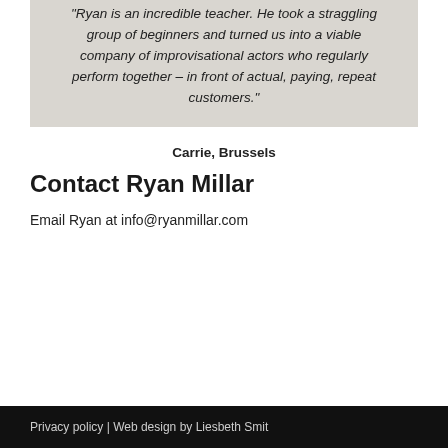"Ryan is an incredible teacher. He took a straggling group of beginners and turned us into a viable company of improvisational actors who regularly perform together – in front of actual, paying, repeat customers."
Carrie, Brussels
Contact Ryan Millar
Email Ryan at info@ryanmillar.com
Privacy policy | Web design by Liesbeth Smit